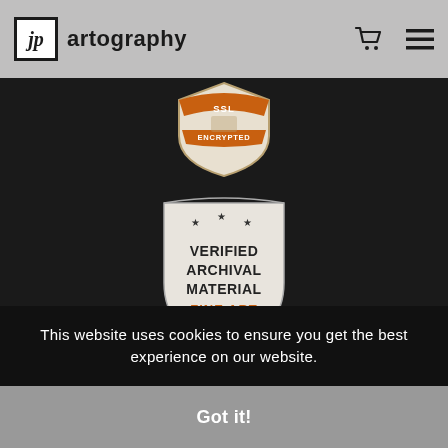jp artography
[Figure (logo): SSL Encrypted badge - orange and white shield badge with 'SSL ENCRYPTED' text]
[Figure (logo): Verified Archival Material Fine Art badge - shield with stars, black text 'VERIFIED ARCHIVAL MATERIAL' and orange text 'FINE ART', with ribbon at bottom]
This website uses cookies to ensure you get the best experience on our website.
Got it!